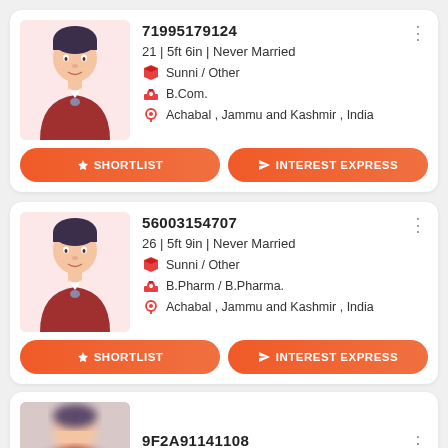[Figure (other): Profile card 1: avatar illustration of a man in suit, ID 71995179124, 21 | 5ft 6in | Never Married, Sunni / Other, B.Com., Achabal , Jammu and Kashmir , India, with Shortlist and Interest Express buttons]
[Figure (other): Profile card 2: avatar illustration of a man in suit, ID 56003154707, 26 | 5ft 9in | Never Married, Sunni / Other, B.Pharm / B.Pharma., Achabal , Jammu and Kashmir , India, with Shortlist and Interest Express buttons]
[Figure (other): Profile card 3 (partial): blurred avatar, ID 9F2A91141108, partially visible]